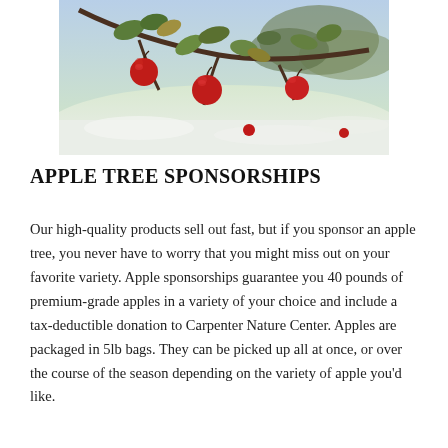[Figure (photo): Photo of red apples hanging on a tree branch with snow-covered ground visible in the background. The apples are vivid red with green leaves still on the branch.]
APPLE TREE SPONSORSHIPS
Our high-quality products sell out fast, but if you sponsor an apple tree, you never have to worry that you might miss out on your favorite variety. Apple sponsorships guarantee you 40 pounds of premium-grade apples in a variety of your choice and include a tax-deductible donation to Carpenter Nature Center. Apples are packaged in 5lb bags. They can be picked up all at once, or over the course of the season depending on the variety of apple you'd like.